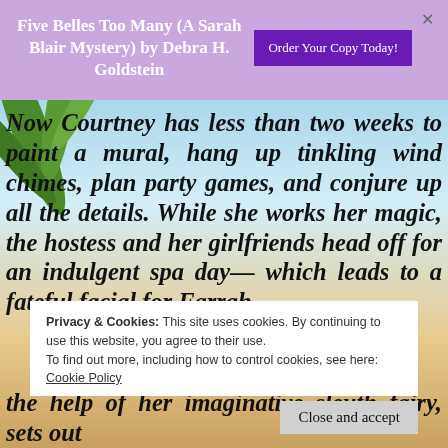Five Belles Too Many (A Sarah Blair Mystery) by Debra H. Goldstein | Order Your Copy Today!
Now Courtney has less than two weeks to paint a mural, hang up tinkling wind chimes, plan party games, and conjure up all the details. While she works her magic, the hostess and her girlfriends head off for an indulgent spa day—which leads to a fateful facial for Farrah,
Privacy & Cookies: This site uses cookies. By continuing to use this website, you agree to their use. To find out more, including how to control cookies, see here: Cookie Policy
Close and accept
the help of her imaginative sleuth fairy, sets out